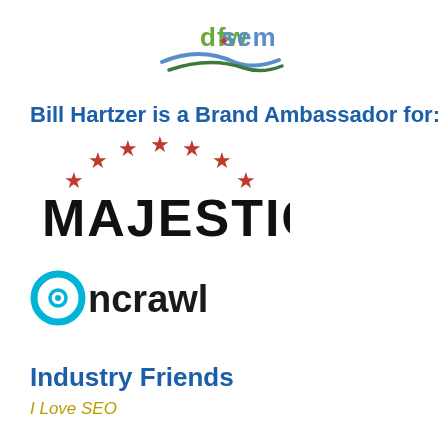[Figure (logo): DFW SEM logo with green and blue swoosh and compass icon]
Bill Hartzer is a Brand Ambassador for:
[Figure (logo): Majestic logo: red stars arranged in an arc above bold black MAJESTIC text]
[Figure (logo): Oncrawl logo: cyan O with gear/eye icon followed by ncrawl in dark text]
Industry Friends
I Love SEO